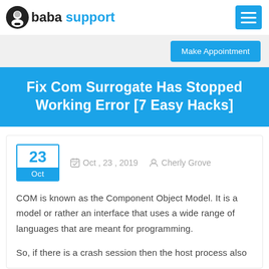baba support
Fix Com Surrogate Has Stopped Working Error [7 Easy Hacks]
Oct , 23 , 2019  Cherly Grove
COM is known as the Component Object Model. It is a model or rather an interface that uses a wide range of languages that are meant for programming.
So, if there is a crash session then the host process also